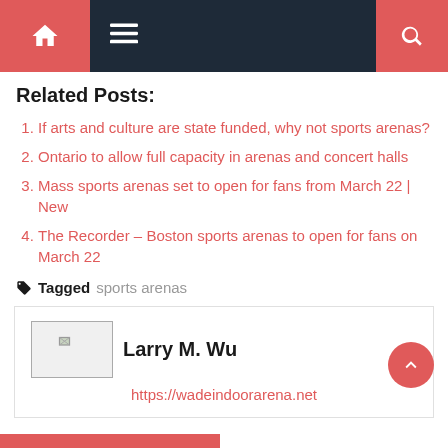Navigation bar with home, menu, and search icons
Related Posts:
If arts and culture are state funded, why not sports arenas?
Ontario to allow full capacity in arenas and concert halls
Mass sports arenas set to open for fans from March 22 | New
The Recorder – Boston sports arenas to open for fans on March 22
Tagged sports arenas
Larry M. Wu
https://wadeindoorarena.net